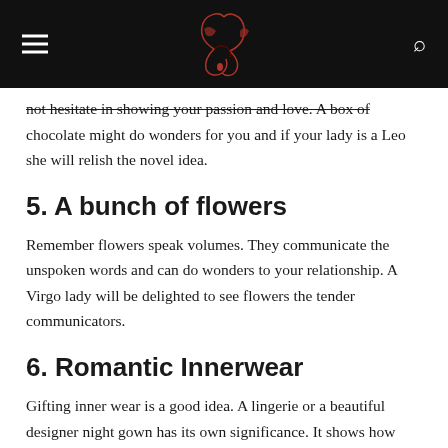[navigation header with logo]
not hesitate in showing your passion and love. A box of chocolate might do wonders for you and if your lady is a Leo she will relish the novel idea.
5. A bunch of flowers
Remember flowers speak volumes. They communicate the unspoken words and can do wonders to your relationship. A Virgo lady will be delighted to see flowers the tender communicators.
6. Romantic Innerwear
Gifting inner wear is a good idea. A lingerie or a beautiful designer night gown has its own significance. It shows how you want your lady to be like. You want to shower love and want her